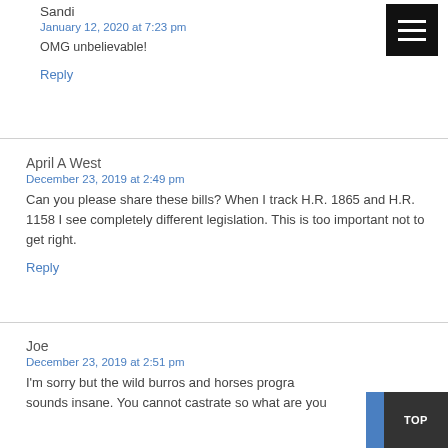Sandi
January 12, 2020 at 7:23 pm
OMG unbelievable!
Reply
April A West
December 23, 2019 at 2:49 pm
Can you please share these bills? When I track H.R. 1865 and H.R. 1158 I see completely different legislation. This is too important not to get right.
Reply
Joe
December 23, 2019 at 2:51 pm
I'm sorry but the wild burros and horses progra sounds insane. You cannot castrate so what are you